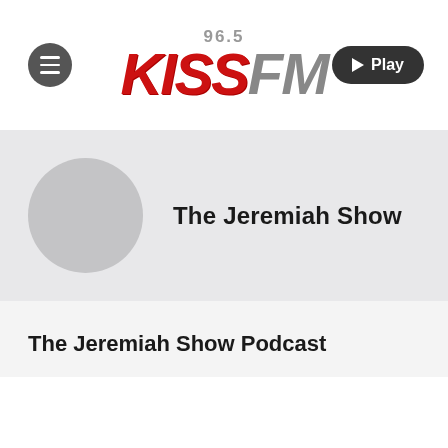[Figure (logo): 96.5 KISS FM radio station logo with red KISS and gray FM text, italic bold style]
The Jeremiah Show
The Jeremiah Show Podcast